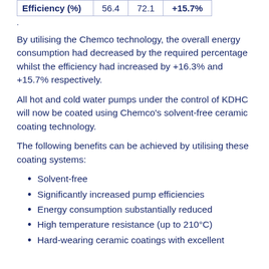|  |  |  |  |
| --- | --- | --- | --- |
| Efficiency (%) | 56.4 | 72.1 | +15.7% |
.
By utilising the Chemco technology, the overall energy consumption had decreased by the required percentage whilst the efficiency had increased by +16.3% and +15.7% respectively.
All hot and cold water pumps under the control of KDHC will now be coated using Chemco’s solvent-free ceramic coating technology.
The following benefits can be achieved by utilising these coating systems:
Solvent-free
Significantly increased pump efficiencies
Energy consumption substantially reduced
High temperature resistance (up to 210°C)
Hard-wearing ceramic coatings with excellent